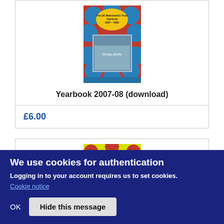[Figure (photo): Book cover of The UK Mathematics Trust Yearbook 2007-08, featuring a colorful geometric pattern in red and blue with a group photo of students in the center]
Yearbook 2007-08 (download)
£6.00
[Figure (photo): Partial view of another book cover with yellow, red and blue geometric pattern]
We use cookies for authentication
Logging in to your account requires us to set cookies.
Cookie notice
OK
Hide this message